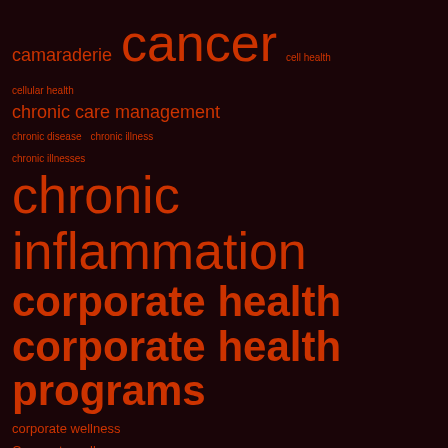[Figure (infographic): Tag cloud on dark brown/maroon background with health-related terms in varying sizes in orange/red colors. Terms include: camaraderie, cancer, cell health, cellular health, chronic care management, chronic disease, chronic illness, chronic illnesses, chronic inflammation, corporate health, corporate health programs, corporate wellness, Corporate wellness programs, depression, desk job, diabesity, diabetes, digestive health, employee engagement, employee health]